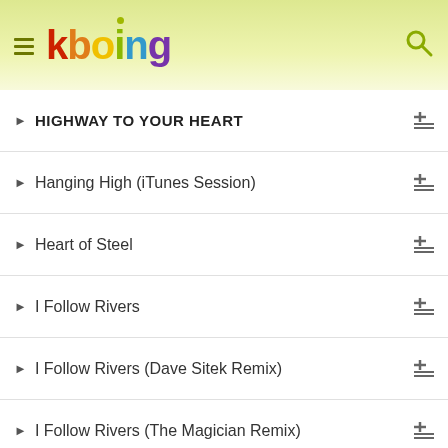kboing
HIGHWAY TO YOUR HEART
Hanging High (iTunes Session)
Heart of Steel
I Follow Rivers
I Follow Rivers (Dave Sitek Remix)
I Follow Rivers (The Magician Remix)